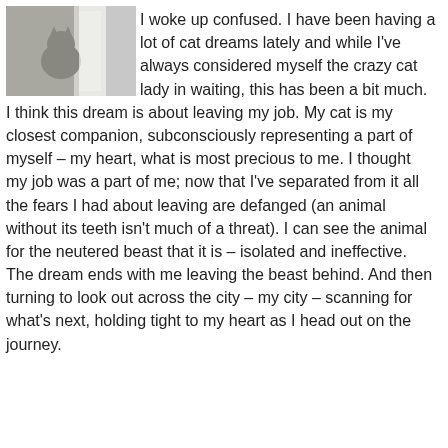[Figure (photo): A photo of a cat near a white windowsill or doorframe, partially visible in the upper left corner of the page.]
I woke up confused. I have been having a lot of cat dreams lately and while I've always considered myself the crazy cat lady in waiting, this has been a bit much.
I think this dream is about leaving my job. My cat is my closest companion, subconsciously representing a part of myself – my heart, what is most precious to me. I thought my job was a part of me; now that I've separated from it all the fears I had about leaving are defanged (an animal without its teeth isn't much of a threat). I can see the animal for the neutered beast that it is – isolated and ineffective. The dream ends with me leaving the beast behind. And then turning to look out across the city – my city – scanning for what's next, holding tight to my heart as I head out on the journey.